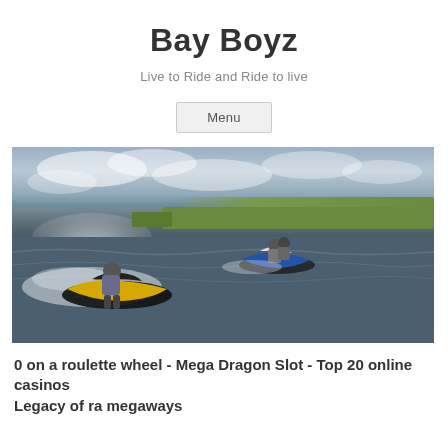Bay Boyz
Live to Ride and Ride to live
Menu
[Figure (photo): Two people riding jet skis at speed on a bay or waterway, with choppy water, white spray, and a flat green shoreline under a cloudy sky. The foreground rider is on a yellow and black jet ski, the background rider on a blue and white jet ski.]
0 on a roulette wheel - Mega Dragon Slot - Top 20 online casinos
Legacy of ra megaways